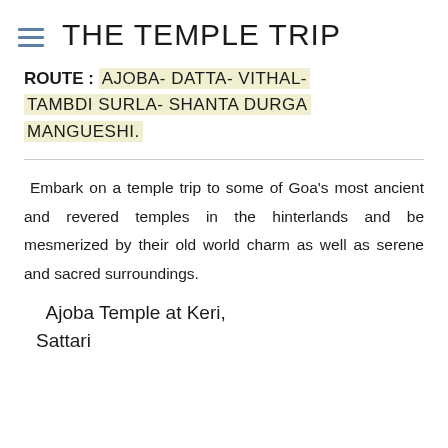THE TEMPLE TRIP
ROUTE : AJOBA- DATTA- VITHAL- TAMBDI SURLA- SHANTA DURGA MANGUESHI.
Embark on a temple trip to some of Goa's most ancient and revered temples in the hinterlands and be mesmerized by their old world charm as well as serene and sacred surroundings.
Ajoba Temple at Keri, Sattari